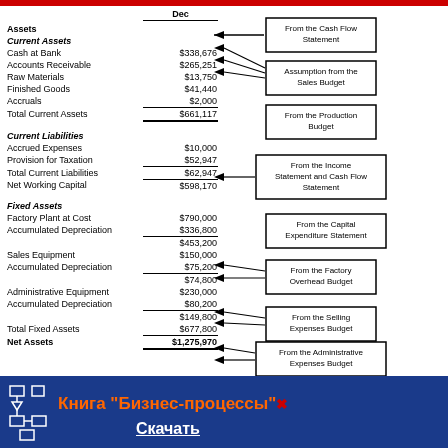|  | Dec |
| --- | --- |
| Assets |  |
| Current Assets |  |
| Cash at Bank | $338,676 |
| Accounts Receivable | $265,251 |
| Raw Materials | $13,750 |
| Finished Goods | $41,440 |
| Accruals | $2,000 |
| Total Current Assets | $661,117 |
| Current Liabilities |  |
| Accrued Expenses | $10,000 |
| Provision for Taxation | $52,947 |
| Total Current Liabilities | $62,947 |
| Net Working Capital | $598,170 |
| Fixed Assets |  |
| Factory Plant at Cost | $790,000 |
| Accumulated Depreciation | $336,800 |
|  | $453,200 |
| Sales Equipment | $150,000 |
| Accumulated Depreciation | $75,200 |
|  | $74,800 |
| Administrative Equipment | $230,000 |
| Accumulated Depreciation | $80,200 |
|  | $149,800 |
| Total Fixed Assets | $677,800 |
| Net Assets | $1,275,970 |
[Figure (infographic): Callout boxes connected by arrows to balance sheet rows: 'From the Cash Flow Statement', 'Assumption from the Sales Budget', 'From the Production Budget', 'From the Income Statement and Cash Flow Statement', 'From the Capital Expenditure Statement', 'From the Factory Overhead Budget', 'From the Selling Expenses Budget', 'From the Administrative Expenses Budget']
Книга "Бизнес-процессы" Скачать